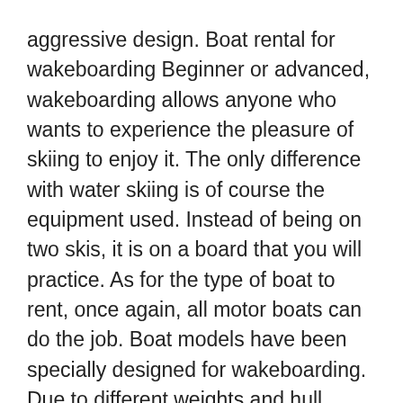aggressive design. Boat rental for wakeboarding Beginner or advanced, wakeboarding allows anyone who wants to experience the pleasure of skiing to enjoy it. The only difference with water skiing is of course the equipment used. Instead of being on two skis, it is on a board that you will practice. As for the type of boat to rent, once again, all motor boats can do the job. Boat models have been specially designed for wakeboarding. Due to different weights and hull shape, they create high and stiff stern waves, even at medium speeds. If you want to rent this type of boat to do wakeboarding, they are easily recognisable because of their sporty and aggressive design. A very attractive option when renting a boat is the wakesurf. This time if, once a cruise speed has been reached, release the spreader bar and use the waves generated by the boat to surf. Sensation guaranteed! Towed buoy Sensation ensured with a towed buoy! Whether you are alone